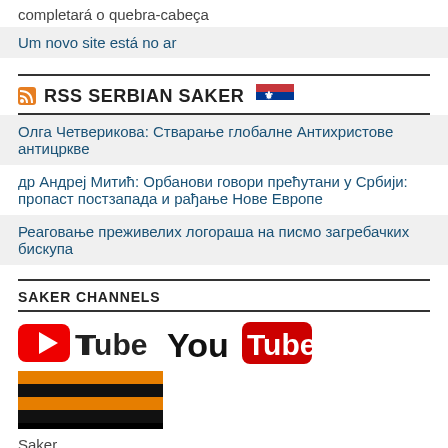completará o quebra-cabeça
Um novo site está no ar
RSS SERBIAN SAKER
Олга Четверикова: Стварање глобалне Антихристове антицркве
др Андреј Митић: Орбанови говори прећутани у Србији: пропаст постзапада и рађање Нове Европе
Реаговање преживелих логораша на писмо загребачких бискупа
SAKER CHANNELS
[Figure (logo): YouTube logo with red rounded rectangle and white play button, followed by an orange and black striped ribbon (St. George ribbon)]
Saker